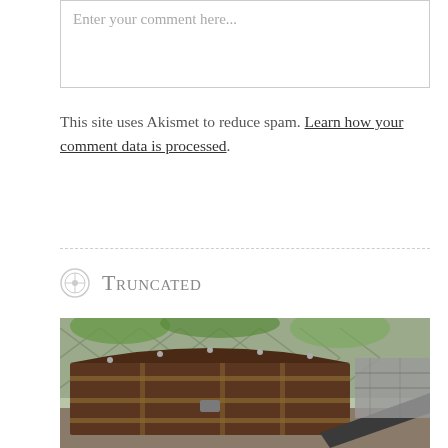Enter your comment here...
This site uses Akismet to reduce spam. Learn how your comment data is processed.
Truncated
[Figure (photo): An old brown dome-top trunk or chest with metal hardware and rivets, sitting outdoors near a chain-link fence with greenery visible in the background. A dark metal ramp or board leans against the right side.]